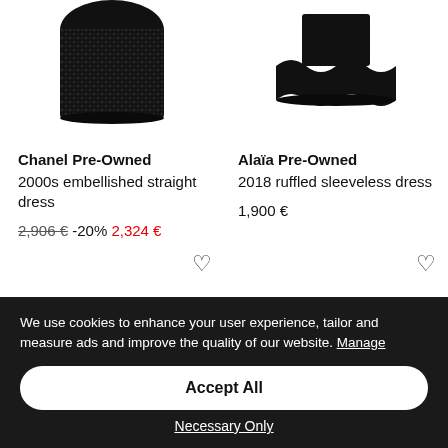[Figure (photo): Product image of Chanel Pre-Owned 2000s embellished straight dress, black sequined/beaded garment on white background]
[Figure (photo): Product image of Alaïa Pre-Owned 2018 ruffled sleeveless dress, black ruffled short skirt/dress on white background]
Chanel Pre-Owned
2000s embellished straight dress
2,906 € -20% 2,324 €
Alaïa Pre-Owned
2018 ruffled sleeveless dress
1,900 €
We use cookies to enhance your user experience, tailor and measure ads and improve the quality of our website. Manage
Accept All
Necessary Only